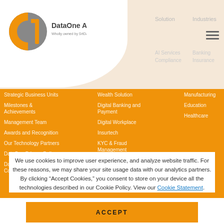[Figure (logo): DataOne Asia logo - circular icon with 'd1' design, orange and grey, with text 'DataOne Asia' and 'Wholly owned by SrtDA']
Solution
Industries
Strategic Business Units
Milestones & Achievements
Management Team
Awards and Recognition
Our Technology Partners
DataOne Privacy Policy
DataOne Terms and Conditions
Wealth Solution
Digital Banking and Payment
Digital Workplace
Insurtech
KYC & Fraud Management
Blockchain applications
Banking
Insurance
Manufacturing
Education
Healthcare
We use cookies to improve user experience, and analyze website traffic. For these reasons, we may share your site usage data with our analytics partners. By clicking “Accept Cookies,” you consent to store on your device all the technologies described in our Cookie Policy. View our Cookie Statement.
ACCEPT